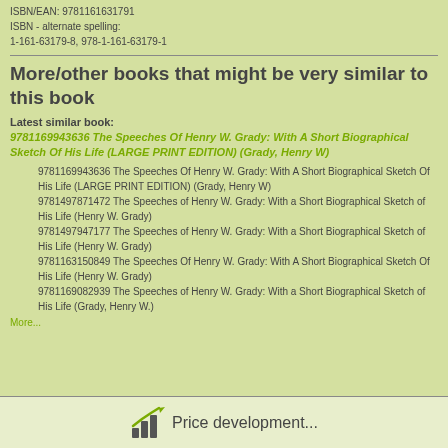ISBN/EAN: 9781161631791
ISBN - alternate spelling:
1-161-63179-8, 978-1-161-63179-1
More/other books that might be very similar to this book
Latest similar book:
9781169943636 The Speeches Of Henry W. Grady: With A Short Biographical Sketch Of His Life (LARGE PRINT EDITION) (Grady, Henry W)
9781169943636 The Speeches Of Henry W. Grady: With A Short Biographical Sketch Of His Life (LARGE PRINT EDITION) (Grady, Henry W)
9781497871472 The Speeches of Henry W. Grady: With a Short Biographical Sketch of His Life (Henry W. Grady)
9781497947177 The Speeches of Henry W. Grady: With a Short Biographical Sketch of His Life (Henry W. Grady)
9781163150849 The Speeches Of Henry W. Grady: With A Short Biographical Sketch Of His Life (Henry W. Grady)
9781169082939 The Speeches of Henry W. Grady: With a Short Biographical Sketch of His Life (Grady, Henry W.)
More...
Price development...